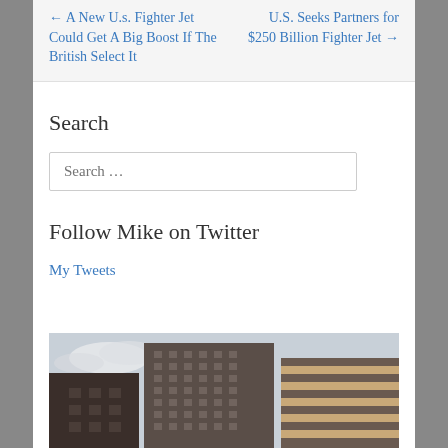← A New U.s. Fighter Jet Could Get A Big Boost If The British Select It
U.S. Seeks Partners for $250 Billion Fighter Jet →
Search
Search …
Follow Mike on Twitter
My Tweets
[Figure (photo): Urban cityscape showing several tall office buildings with gridded windows against a partly cloudy sky]